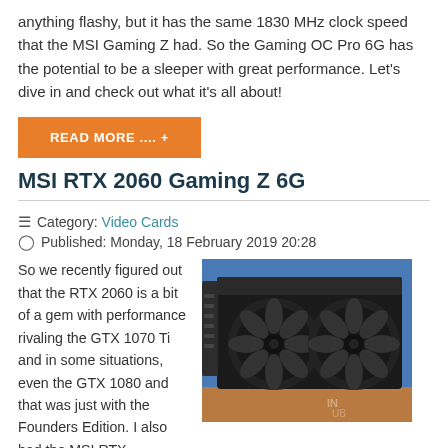anything flashy, but it has the same 1830 MHz clock speed that the MSI Gaming Z had. So the Gaming OC Pro 6G has the potential to be a sleeper with great performance. Let's dive in and check out what it's all about!
READ MORE .... +
MSI RTX 2060 Gaming Z 6G
Category: Video Cards
Published: Monday, 18 February 2019 20:28
[Figure (photo): MSI RTX 2060 Gaming Z 6G graphics card with dual fans, photographed against a blue background on a wooden surface]
So we recently figured out that the RTX 2060 is a bit of a gem with performance rivaling the GTX 1070 Ti and in some situations, even the GTX 1080 and that was just with the Founders Edition. I also had the MSI RTX
some situations, even the GTX 1080 and that was just with the Founders Edition. I also had the MSI RTX